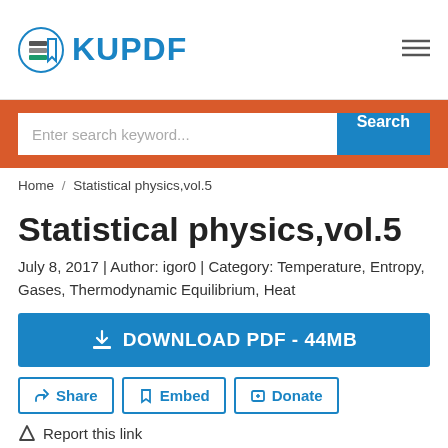KUPDF
Enter search keyword... Search
Home / Statistical physics,vol.5
Statistical physics,vol.5
July 8, 2017 | Author: igor0 | Category: Temperature, Entropy, Gases, Thermodynamic Equilibrium, Heat
DOWNLOAD PDF - 44MB
Share   Embed   Donate
Report this link
Short Description